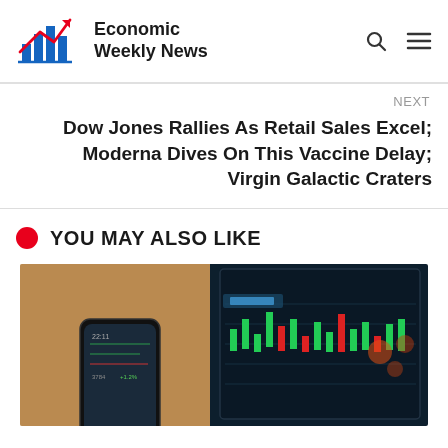Economic Weekly News
NEXT
Dow Jones Rallies As Retail Sales Excel; Moderna Dives On This Vaccine Delay; Virgin Galactic Craters
YOU MAY ALSO LIKE
[Figure (photo): A smartphone and a computer monitor displaying stock market trading charts and data in the background, blurred background with green and red candlestick charts visible]